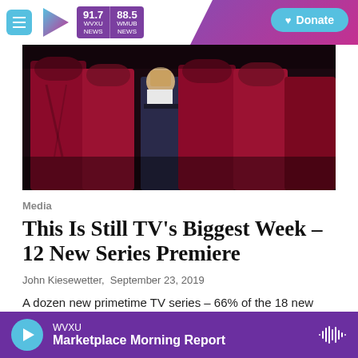91.7 WVXU NEWS | 88.5 WMUB NEWS | Donate
[Figure (photo): Dark photo showing people in red robes/cloaks (Handmaid's Tale style costumes) with one person in a dark suit in the center]
Media
This Is Still TV's Biggest Week – 12 New Series Premiere
John Kiesewetter,  September 23, 2019
A dozen new primetime TV series – 66% of the 18 new shows – arrive this week as broadcasters cling to the
WVXU Marketplace Morning Report